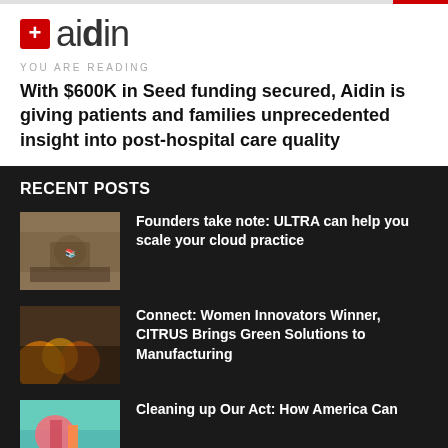aidin
YOU ARE READING
With $600K in Seed funding secured, Aidin is giving patients and families unprecedented insight into post-hospital care quality
RECENT POSTS
Founders take note: ULTRA can help you scale your cloud practice
Connect: Women Innovators Winner, CITRUS Brings Green Solutions to Manufacturing
Cleaning up Our Act: How America Can...